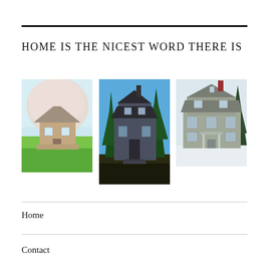HOME IS THE NICEST WORD THERE IS
[Figure (photo): Three photos of houses side by side: left shows a house with spring trees and green lawn, center shows a dark colonial-style house with pine trees, right shows a gray two-story house in winter.]
Home
Contact